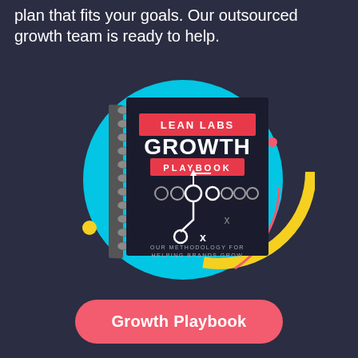plan that fits your goals. Our outsourced growth team is ready to help.
[Figure (illustration): Lean Labs Growth Playbook spiral-bound book cover illustration with cyan circle, yellow arc, and red dot decorative elements. Book title reads LEAN LABS GROWTH PLAYBOOK with football play diagram and text OUR METHODOLOGY FOR HELPING BRANDS GROW]
Growth Playbook